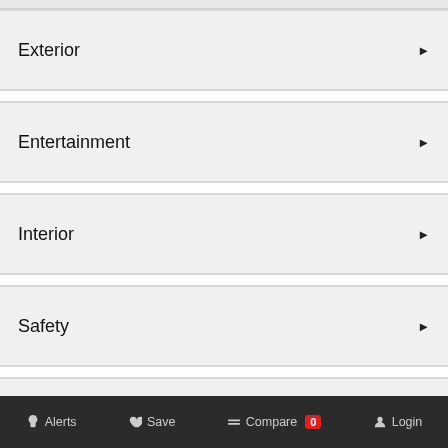Exterior
Entertainment
Interior
Safety
Features
DEALER FAQS
Alerts   Save   Compare 0   Login